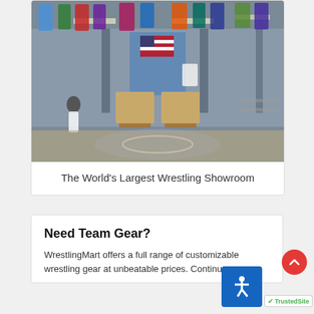[Figure (photo): Interior of a large wrestling sports retail showroom with uniforms and jerseys hanging from the ceiling, mannequins, display tables, an American flag, and a wrestling mat on the floor. Multiple customers visible browsing the store.]
The World’s Largest Wrestling Showroom
Need Team Gear?
WrestlingMart offers a full range of custo[mizable] wrestling gear at unbeatable prices. Conti[nue...]